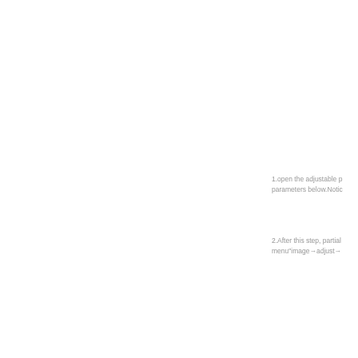1.open the adjustable p parameters below.Notic
2.After this step, partial menu"image→adjust→